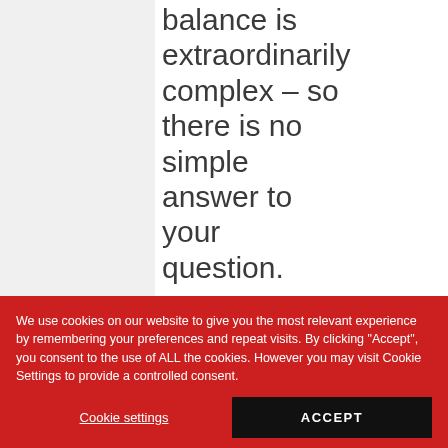balance is extraordinarily complex – so there is no simple answer to your question.
Post a Reply
We use cookies on our website to give you the most relevant experience by remembering your preferences and repeat visits. By clicking "Accept", you consent to the use of ALL the cookies. However you may visit Cookie Settings to provide a controlled consent.
Cookie settings
ACCEPT